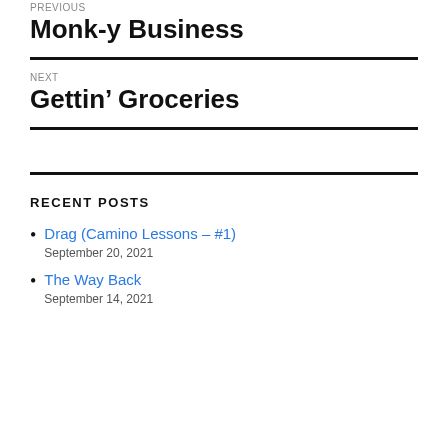PREVIOUS
Monk-y Business
NEXT
Gettin’ Groceries
RECENT POSTS
Drag (Camino Lessons – #1)
September 20, 2021
The Way Back
September 14, 2021